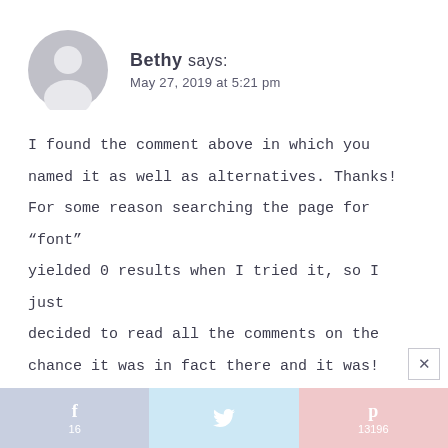[Figure (illustration): Gray circular avatar/profile placeholder icon with silhouette of a person's head and shoulders]
Bethy says:
May 27, 2019 at 5:21 pm
I found the comment above in which you named it as well as alternatives. Thanks! For some reason searching the page for “font” yielded 0 results when I tried it, so I just decided to read all the comments on the chance it was in fact there and it was!
Reply
[Figure (infographic): Social share bar with three sections: Facebook (blue-gray) with 'f 16', Twitter (light blue) with bird icon, Pinterest (pink) with 'p 13196']